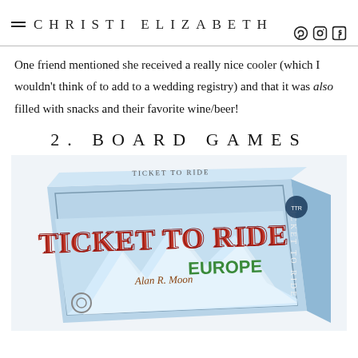CHRISTI ELIZABETH
One friend mentioned she received a really nice cooler (which I wouldn't think of to add to a wedding registry) and that it was also filled with snacks and their favorite wine/beer!
2. BOARD GAMES
[Figure (photo): Box of the board game 'Ticket to Ride Europe' by Alan R. Moon, shown at an angle against a white background.]